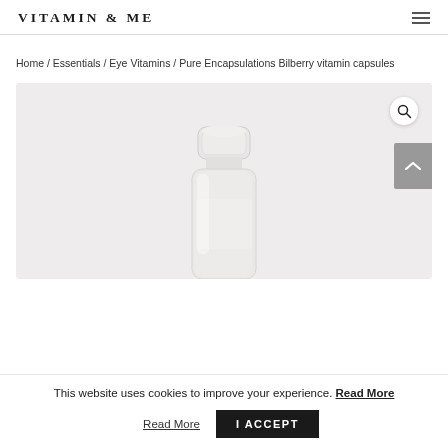VITAMIN & ME
Home / Essentials / Eye Vitamins / Pure Encapsulations Bilberry vitamin capsules
[Figure (photo): White supplement bottle with screw cap on a light grey background, showing product image for Pure Encapsulations Bilberry vitamin capsules]
This website uses cookies to improve your experience. Read More
I ACCEPT